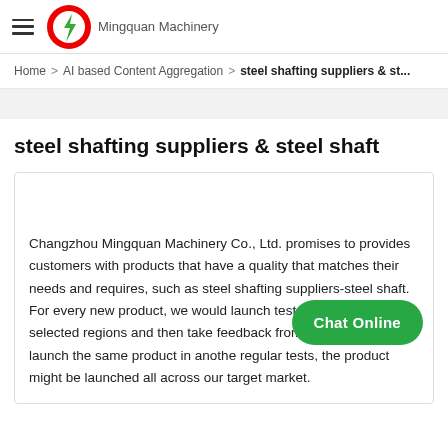Mingquan Machinery
Home > AI based Content Aggregation > steel shafting suppliers & st...
steel shafting suppliers & steel shaft
Changzhou Mingquan Machinery Co., Ltd. promises to provides customers with products that have a quality that matches their needs and requires, such as steel shafting suppliers-steel shaft. For every new product, we would launch test products in selected regions and then take feedback from those regions and launch the same product in another regular tests, the product might be launched all across our target market.